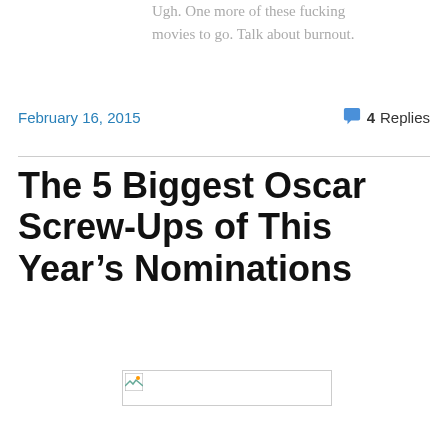Ugh. One more of these fucking movies to go. Talk about burnout.
February 16, 2015
4 Replies
The 5 Biggest Oscar Screw-Ups of This Year’s Nominations
[Figure (photo): Broken/missing image placeholder]